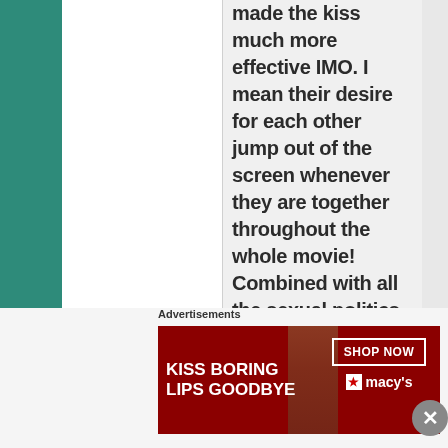made the kiss much more effective IMO. I mean their desire for each other jump out of the screen whenever they are together throughout the whole movie! Combined with all the sexual politics, I'm shocked how this got past the Code. Not that I
Advertisements
[Figure (photo): Macy's advertisement banner with red background showing a woman's face with red lips. Text reads 'KISS BORING LIPS GOODBYE' with a 'SHOP NOW' button and Macy's star logo.]